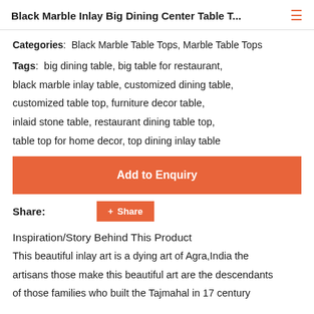Black Marble Inlay Big Dining Center Table T...
Categories: Black Marble Table Tops, Marble Table Tops
Tags: big dining table, big table for restaurant, black marble inlay table, customized dining table, customized table top, furniture decor table, inlaid stone table, restaurant dining table top, table top for home decor, top dining inlay table
Add to Enquiry
Share: Share
Inspiration/Story Behind This Product
This beautiful inlay art is a dying art of Agra,India the artisans those make this beautiful art are the descendants of those families who built the Tajmahal in 17 century